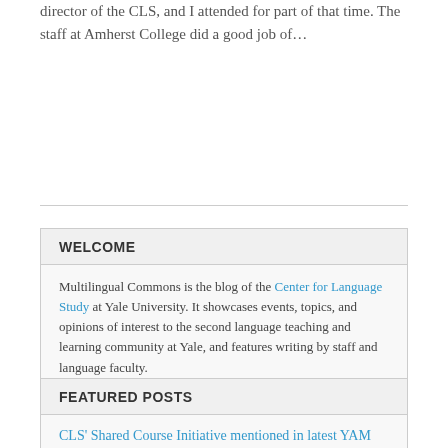director of the CLS, and I attended for part of that time. The staff at Amherst College did a good job of…
Read more →
WELCOME
Multilingual Commons is the blog of the Center for Language Study at Yale University. It showcases events, topics, and opinions of interest to the second language teaching and learning community at Yale, and features writing by staff and language faculty.
FEATURED POSTS
CLS' Shared Course Initiative mentioned in latest YAM Cover Story
In the current (March/April 2016) issue of the Yale Alumni